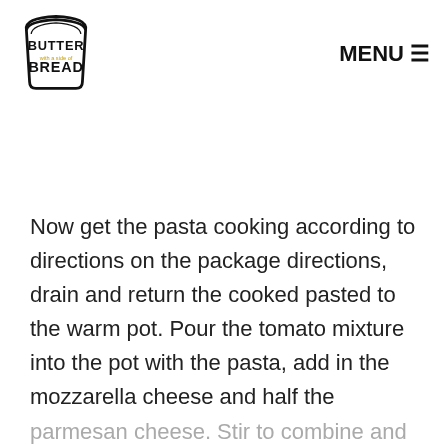[Figure (logo): Butter with a side of Bread logo — bread slice outline with text BUTTER (bold) with a side of (small, yellow/gold) BREAD (bold) inside]
MENU ☰
Now get the pasta cooking according to directions on the package directions, drain and return the cooked pasted to the warm pot. Pour the tomato mixture into the pot with the pasta, add in the mozzarella cheese and half the parmesan cheese. Stir to combine and let sit for 5 minutes for the cheeses to melt.